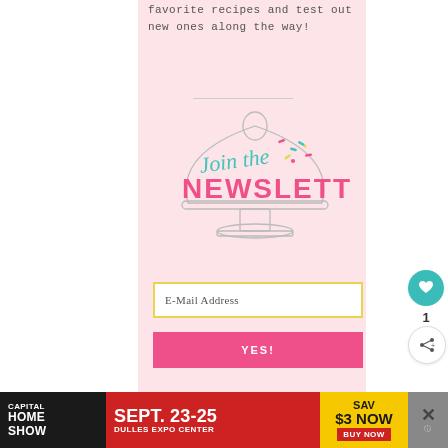favorite recipes and test out new ones along the way!
[Figure (illustration): Cake stand cloche illustration with 'Join the NEWSLETTER' text. 'Join the' in teal script, 'NEWSLETTER' in large pink bold sans-serif letters, with colorful sprinkles decoration, all inside a drawn cake dome/cloche outline.]
E-Mail Address
YES!
CAPITAL HOME SHOW   SEPT. 23-25  DULLES EXPO CENTER  SAV $3 NOW  BUY NOW